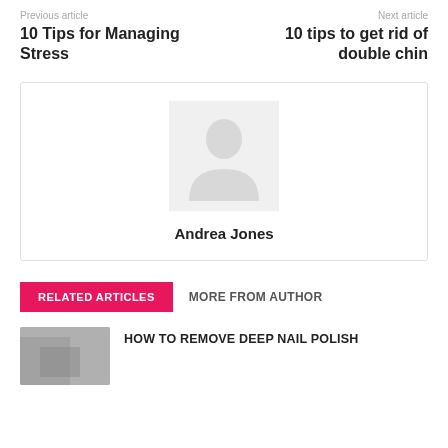Previous article
Next article
10 Tips for Managing Stress
10 tips to get rid of double chin
[Figure (illustration): Author avatar placeholder - generic person silhouette on light grey background]
Andrea Jones
RELATED ARTICLES
MORE FROM AUTHOR
[Figure (photo): Thumbnail image for nail polish article]
HOW TO REMOVE DEEP NAIL POLISH